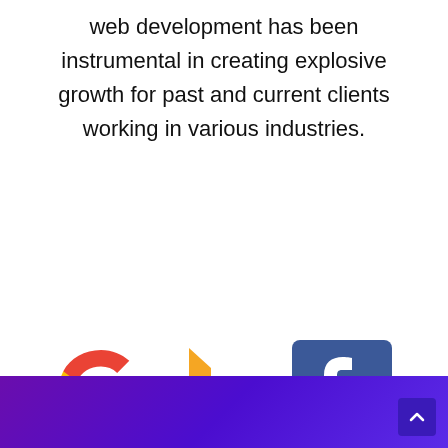web development has been instrumental in creating explosive growth for past and current clients working in various industries.
[Figure (logo): Three logos displayed side by side: Google (colorful G), Bing (orange b), and Facebook (blue square with white f)]